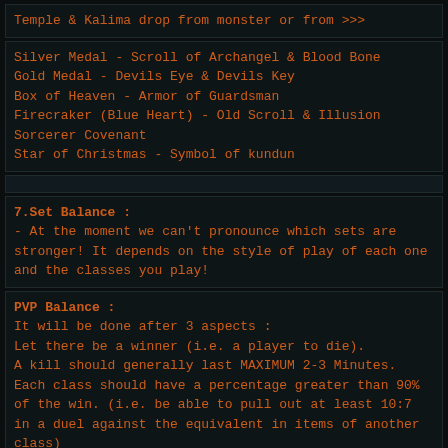Temple & Kalima drop from monster or from >>>
Silver Medal - Scroll of Archangel & Blood Bone
Gold Medal - Devils Eye & Devils Key
Box of Heaven - Armor of Guardsman
Firecraker (Blue Heart) - Old Scroll & Illusion Sorcerer Covenant
Star of Christmas - Symbol of kundun
7.Set Balance :
- At the moment we can't pronounce which sets are stronger! It depends on the style of play of each one and the classes you play!
PVP Balance :
It will be done after 3 aspects :
Let there be a winner (i.e. a player to die).
A kill should generally last MAXIMUM 2-3 Minutes.
Each class should have a percentage greater than 90% of the win. (i.e. be able to pull out at least 10:7 in a duel against the equivalent in items of another class)